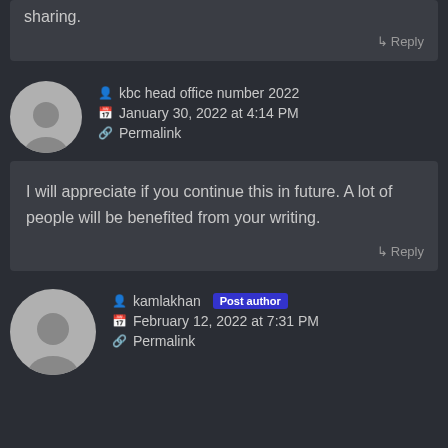sharing.
↳ Reply
👤 kbc head office number 2022
📅 January 30, 2022 at 4:14 PM
🔗 Permalink
I will appreciate if you continue this in future. A lot of people will be benefited from your writing.
↳ Reply
👤 kamlakhan [Post author]
📅 February 12, 2022 at 7:31 PM
🔗 Permalink